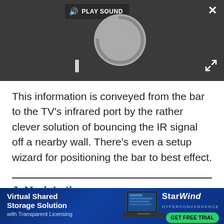[Figure (screenshot): Dark video player area with a loading spinner/circle, pause button (two vertical bars), play sound popup in top area, close X button top right, and expand arrows icon bottom right.]
This information is conveyed from the bar to the TV's infrared port by the rather clever solution of bouncing the IR signal off a nearby wall. There's even a setup wizard for positioning the bar to best effect.
J. Mark Lytle
J Mark Lytle was an International Editor for Tech Radar and...
[Figure (infographic): Advertisement banner for StarWind Hyperconvergence: 'Virtual Shared Storage Solution with Transparent Licensing' with laptop image and GET FREE TRIAL button.]